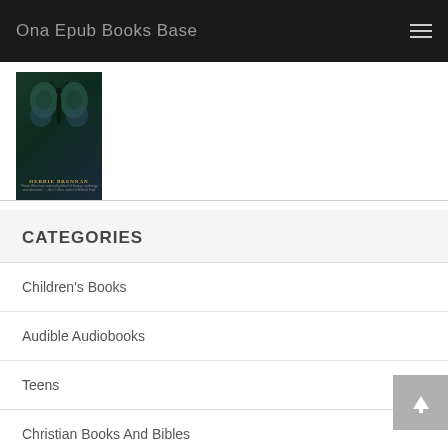Ona Epub Books Base
[Figure (illustration): Book cover showing a butterfly/moth image with text 'HERBIE BRENNAN' and a quote below]
CATEGORIES
Children's Books
Audible Audiobooks
Teens
Christian Books And Bibles
Humor And Entertainment